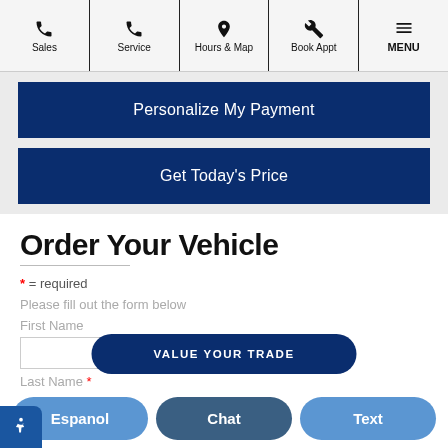Sales | Service | Hours & Map | Book Appt | MENU
Personalize My Payment
Get Today's Price
Order Your Vehicle
* = required
Please fill out the form below
First Name
Last Name *
VALUE YOUR TRADE
Espanol
Chat
Text